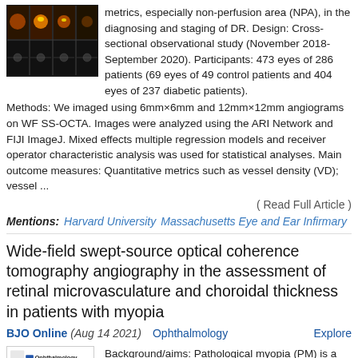[Figure (photo): Grid of retinal angiography images showing WF SS-OCTA scans with color heat maps]
metrics, especially non-perfusion area (NPA), in the diagnosing and staging of DR. Design: Cross-sectional observational study (November 2018-September 2020). Participants: 473 eyes of 286 patients (69 eyes of 49 control patients and 404 eyes of 237 diabetic patients). Methods: We imaged using 6mm×6mm and 12mm×12mm angiograms on WF SS-OCTA. Images were analyzed using the ARI Network and FIJI ImageJ. Mixed effects multiple regression models and receiver operator characteristic analysis was used for statistical analyses. Main outcome measures: Quantitative metrics such as vessel density (VD); vessel ...
( Read Full Article )
Mentions:  Harvard University  Massachusetts Eye and Ear Infirmary
Wide-field swept-source optical coherence tomography angiography in the assessment of retinal microvasculature and choroidal thickness in patients with myopia
BJO Online (Aug 14 2021)    Ophthalmology    Explore
[Figure (photo): Ophthalmology journal logo and grid of eye images showing retinal photographs in 2x2 layout]
Background/aims: Pathological myopia (PM) is a leading cause of blindness worldwide. We aimed to evaluate microvascular and chorioretinal changes in different stages of myopia with wide-field (WF) swept-source (SS) optical coherence tomography angiography (OCTA). Methods: This prospective cross-sectional